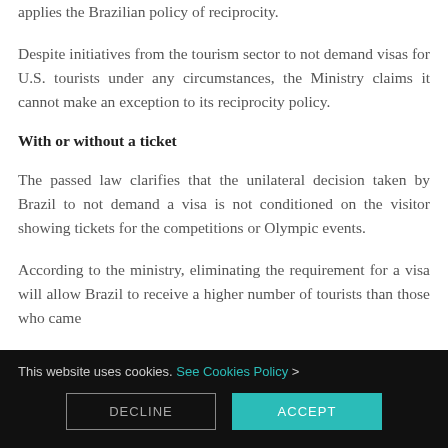applies the Brazilian policy of reciprocity.
Despite initiatives from the tourism sector to not demand visas for U.S. tourists under any circumstances, the Ministry claims it cannot make an exception to its reciprocity policy.
With or without a ticket
The passed law clarifies that the unilateral decision taken by Brazil to not demand a visa is not conditioned on the visitor showing tickets for the competitions or Olympic events.
According to the ministry, eliminating the requirement for a visa will allow Brazil to receive a higher number of tourists than those who came
This website uses cookies. See Cookies Policy >